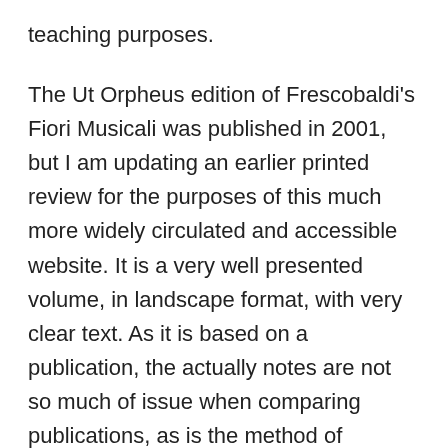teaching purposes.
The Ut Orpheus edition of Frescobaldi's Fiori Musicali was published in 2001, but I am updating an earlier printed review for the purposes of this much more widely circulated and accessible website. It is a very well presented volume, in landscape format, with very clear text. As it is based on a publication, the actually notes are not so much of issue when comparing publications, as is the method of presentation and the presence, or otherwise, of editorial additions. Having said that, the original was published in open score, with a separate stave for each musical line, rather like a vocal score. All editions reduce this to a normal two-stave layout. In this edition, editorial tampering is minimal and, where it is exists, is sensible and well explained in the annotations,